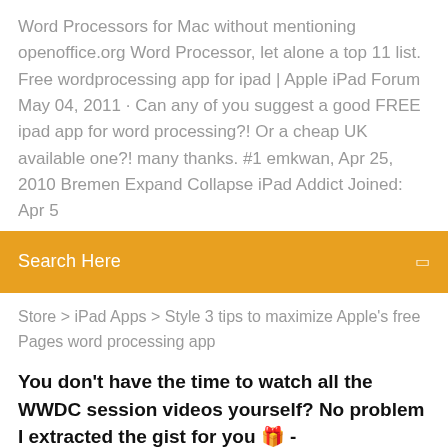Word Processors for Mac without mentioning openoffice.org Word Processor, let alone a top 11 list. Free wordprocessing app for ipad | Apple iPad Forum May 04, 2011 · Can any of you suggest a good FREE ipad app for word processing?! Or a cheap UK available one?! many thanks. #1 emkwan, Apr 25, 2010  Bremen  Expand Collapse  iPad Addict  Joined: Apr 5
Search Here
Store > iPad Apps > Style 3 tips to maximize Apple's free Pages word processing app
You don't have the time to watch all the WWDC session videos yourself? No problem I extracted the gist for you 🎁 - Blackjacx/WWDC
Convert PDF-to-Word and Word-to-PDF with you iPhone, iPad, or iPad mini. Use easyPDF with any Word Processing app, email app, or cloud storage. 6 Nov 2014 Microsoft's Office suite for iPad, iPhone, and Android is now free. In a surprise move, the